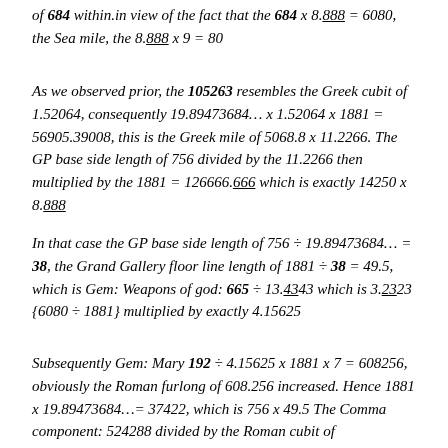of 684 within.in view of the fact that the 684 x 8.888 = 6080, the Sea mile, the 8.888 x 9 = 80
As we observed prior, the 105263 resembles the Greek cubit of 1.52064, consequently 19.89473684… x 1.52064 x 1881 = 56905.39008, this is the Greek mile of 5068.8 x 11.2266. The GP base side length of 756 divided by the 11.2266 then multiplied by the 1881 = 126666.666 which is exactly 14250 x 8.888
In that case the GP base side length of 756 ÷ 19.89473684… = 38, the Grand Gallery floor line length of 1881 ÷ 38 = 49.5, which is Gem: Weapons of god: 665 ÷ 13.4343 which is 3.2323 {6080 ÷ 1881} multiplied by exactly 4.15625
Subsequently Gem: Mary 192 ÷ 4.15625 x 1881 x 7 = 608256, obviously the Roman furlong of 608.256 increased. Hence 1881 x 19.89473684…= 37422, which is 756 x 49.5 The Comma component: 524288 divided by the Roman cubit of